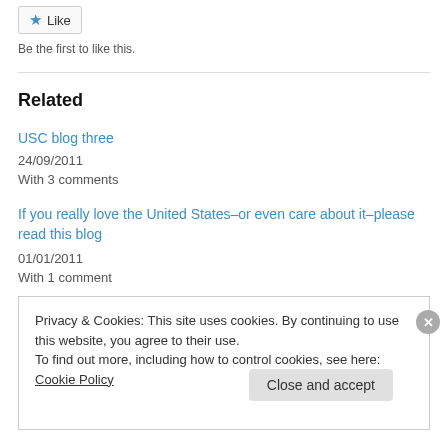[Figure (other): Like button with star icon]
Be the first to like this.
Related
USC blog three
24/09/2011
With 3 comments
If you really love the United States–or even care about it–please read this blog
01/01/2011
With 1 comment
Privacy & Cookies: This site uses cookies. By continuing to use this website, you agree to their use.
To find out more, including how to control cookies, see here: Cookie Policy